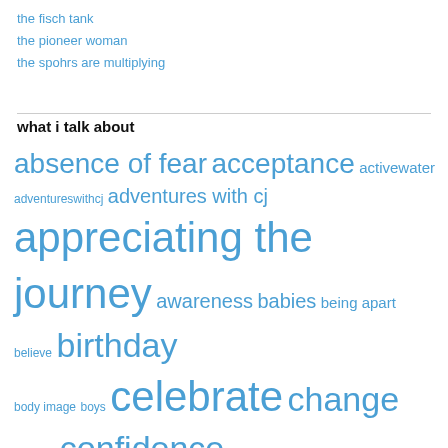the fisch tank
the pioneer woman
the spohrs are multiplying
what i talk about
[Figure (infographic): Tag cloud with blog topics in various font sizes, all in blue. Terms include: absence of fear, acceptance, activewater, adventureswithcj, adventures with cj, appreciating the journey, awareness, babies, being apart, believe, birthday, body image, boys, celebrate, change, chicago, confidence, connor, connor james, cycling, dad, diy, encouragement, engagement, exercise, faith, fall, family, flowers, friends, fun, gifts, grief, guatemala, guatemala redux, holidays, home, home improvement]